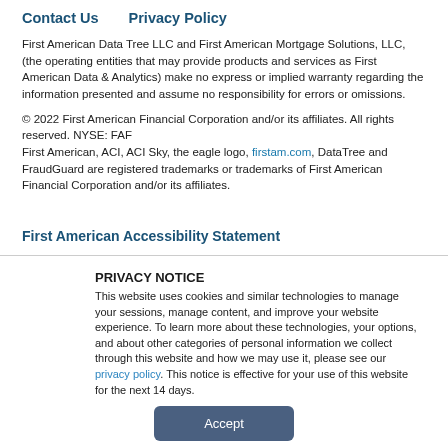Contact Us    Privacy Policy
First American Data Tree LLC and First American Mortgage Solutions, LLC, (the operating entities that may provide products and services as First American Data & Analytics) make no express or implied warranty regarding the information presented and assume no responsibility for errors or omissions.
© 2022 First American Financial Corporation and/or its affiliates. All rights reserved. NYSE: FAF
First American, ACI, ACI Sky, the eagle logo, firstam.com, DataTree and FraudGuard are registered trademarks or trademarks of First American Financial Corporation and/or its affiliates.
First American Accessibility Statement
PRIVACY NOTICE
This website uses cookies and similar technologies to manage your sessions, manage content, and improve your website experience. To learn more about these technologies, your options, and about other categories of personal information we collect through this website and how we may use it, please see our privacy policy. This notice is effective for your use of this website for the next 14 days.
Accept